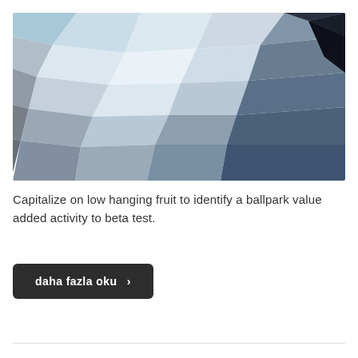[Figure (illustration): Abstract low-poly geometric pattern image with polygonal shapes in shades of blue, grey, white, and dark navy. The shapes transition from lighter blues and whites in the upper area to darker blues and greys toward the bottom-right corner, with a near-black polygon in the upper-right.]
Capitalize on low hanging fruit to identify a ballpark value added activity to beta test.
daha fazla oku ›